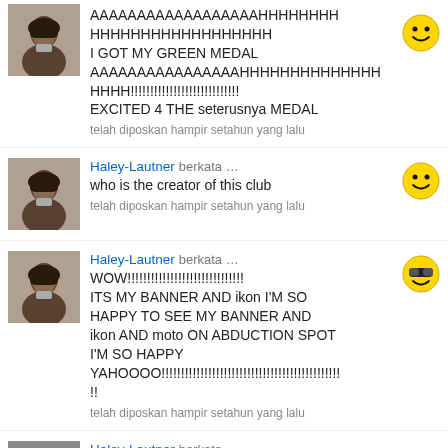AAAAAAAAAAAAAAAAAAHHHHHHHHHHHHHHHHHHHHHH
I GOT MY GREEN MEDAL
AAAAAAAAAAAAAAAAHHHHHHHHHHHHHHHH!!!!!!!!!!!!!!!!!!!!!!!!!!!!
EXCITED 4 THE seterusnya MEDAL
telah diposkan hampir setahun yang lalu
Haley-Lautner berkata …
who is the creator of this club
telah diposkan hampir setahun yang lalu
Haley-Lautner berkata …
WOW!!!!!!!!!!!!!!!!!!!!!!!!!!!!
ITS MY BANNER AND ikon I'M SO HAPPY TO SEE MY BANNER AND ikon AND moto ON ABDUCTION SPOT I'M SO HAPPY YAHOOOO!!!!!!!!!!!!!!!!!!!!!!!!!!!!!!!!!!!!!!!!!!!!!!!
telah diposkan hampir setahun yang lalu
Haley-Lautner berkata …